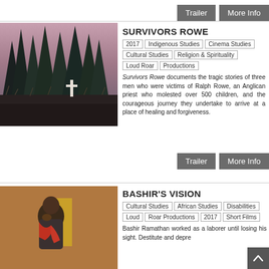[Figure (other): Trailer and More Info buttons at top right]
[Figure (photo): Forest scene with cross in foreground, trees in background, dark and moody outdoor setting]
SURVIVORS ROWE
2017
Indigenous Studies
Cinema Studies
Cultural Studies
Religion & Spirituality
Loud Roar Productions
Survivors Rowe documents the tragic stories of three men who were victims of Ralph Rowe, an Anglican priest who molested over 500 children, and the courageous journey they undertake to arrive at a place of healing and forgiveness.
[Figure (other): Trailer and More Info buttons below Survivors Rowe]
[Figure (photo): Man sitting and appearing distressed, wearing a grey shirt and red scarf, with yellow in background]
BASHIR'S VISION
Cultural Studies
African Studies
Disabilities
Loud Roar Productions
2017
Short Films
Bashir Ramathan worked as a laborer until losing his sight. Destitute and depre...